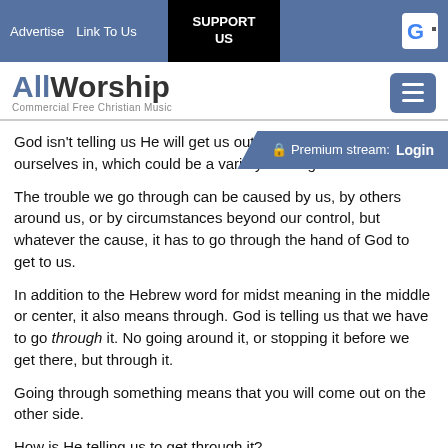Advertise  Link To Us  SUPPORT US
[Figure (logo): AllWorship logo - Commercial Free Christian Music with hamburger menu button]
God isn't telling us He will get us out of the trouble we are ourselves in, which could be a variety of things.
The trouble we go through can be caused by us, by others around us, or by circumstances beyond our control, but whatever the cause, it has to go through the hand of God to get to us.
In addition to the Hebrew word for midst meaning in the middle or center, it also means through. God is telling us that we have to go through it. No going around it, or stopping it before we get there, but through it.
Going through something means that you will come out on the other side.
How is He telling us to get through it?